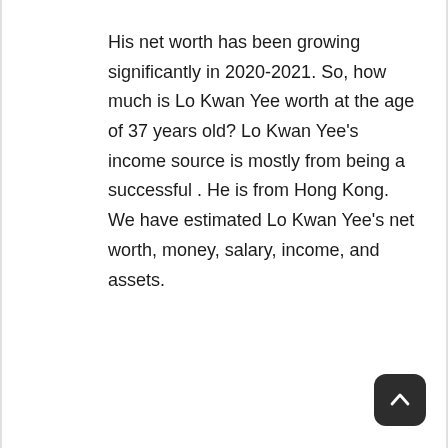His net worth has been growing significantly in 2020-2021. So, how much is Lo Kwan Yee worth at the age of 37 years old? Lo Kwan Yee's income source is mostly from being a successful . He is from Hong Kong. We have estimated Lo Kwan Yee's net worth, money, salary, income, and assets.